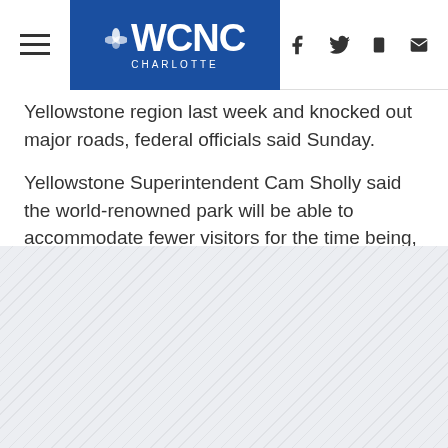WCNC Charlotte — navigation header with hamburger menu and social icons (Facebook, Twitter, mobile, email)
Yellowstone region last week and knocked out major roads, federal officials said Sunday.
Yellowstone Superintendent Cam Sholly said the world-renowned park will be able to accommodate fewer visitors for the time being, and it will take more time to restore road connections with some southern Montana communities.
[Figure (other): Diagonal striped placeholder/advertisement area at the bottom of the page]